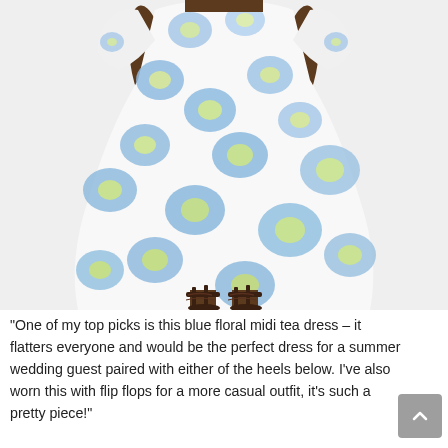[Figure (photo): A model wearing a white and blue floral midi tea dress with puff sleeves, paired with brown strappy lace-up heeled sandals, photographed against a neutral background.]
“One of my top picks is this blue floral midi tea dress – it flatters everyone and would be the perfect dress for a summer wedding guest paired with either of the heels below. I’ve also worn this with flip flops for a more casual outfit, it’s such a pretty piece!”